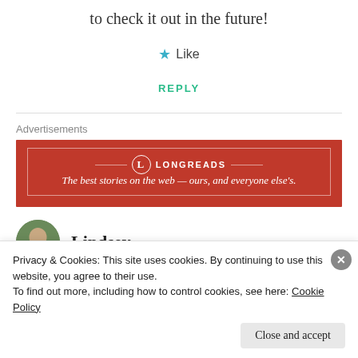to check it out in the future!
Like
REPLY
Advertisements
[Figure (other): Longreads advertisement banner — red background with logo and tagline: 'The best stories on the web — ours, and everyone else's.']
Lindsey
Privacy & Cookies: This site uses cookies. By continuing to use this website, you agree to their use.
To find out more, including how to control cookies, see here: Cookie Policy